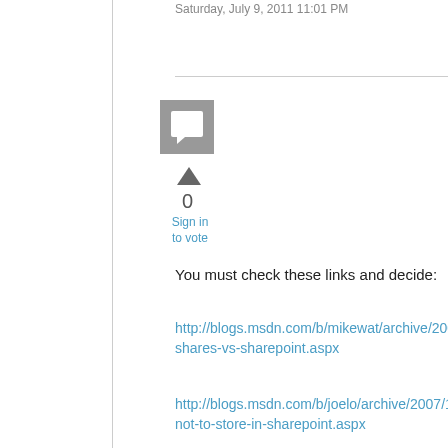Saturday, July 9, 2011 11:01 PM
[Figure (illustration): Gray square avatar icon with speech bubble symbol]
0
Sign in to vote
You must check these links and decide:
http://blogs.msdn.com/b/mikewat/archive/2006/12/09/file-shares-vs-sharepoint.aspx
http://blogs.msdn.com/b/joelo/archive/2007/11/08/what-not-to-store-in-sharepoint.aspx